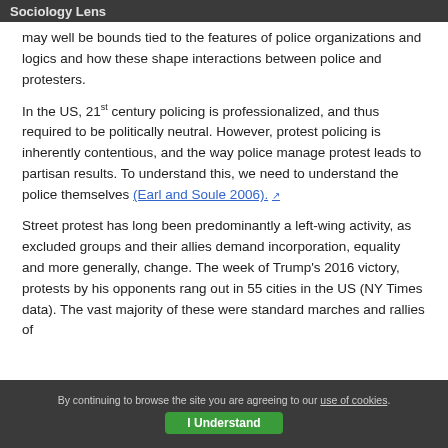Sociology Lens
may well be bounds tied to the features of police organizations and logics and how these shape interactions between police and protesters.
In the US, 21st century policing is professionalized, and thus required to be politically neutral. However, protest policing is inherently contentious, and the way police manage protest leads to partisan results. To understand this, we need to understand the police themselves (Earl and Soule 2006).
Street protest has long been predominantly a left-wing activity, as excluded groups and their allies demand incorporation, equality and more generally, change. The week of Trump’s 2016 victory, protests by his opponents rang out in 55 cities in the US (NY Times data). The vast majority of these were standard marches and rallies of
By continuing to browse the site you are agreeing to our use of cookies. I Understand